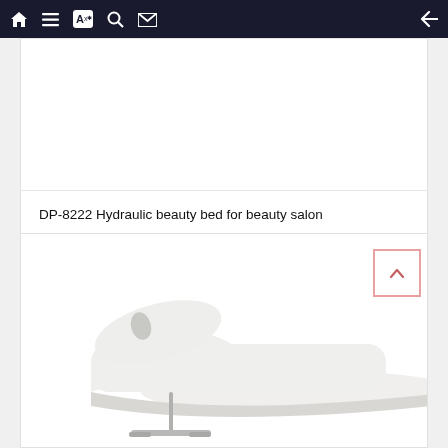Navigation bar with home, list, translate, search, mail icons and back arrow
[Figure (photo): White area placeholder for DP-8222 Hydraulic beauty bed product image (image not visible)]
DP-8222 Hydraulic beauty bed for beauty salon
[Figure (photo): White hydraulic beauty bed / massage table with raised head section, face hole, and metal base support, shown from a side angle on white background]